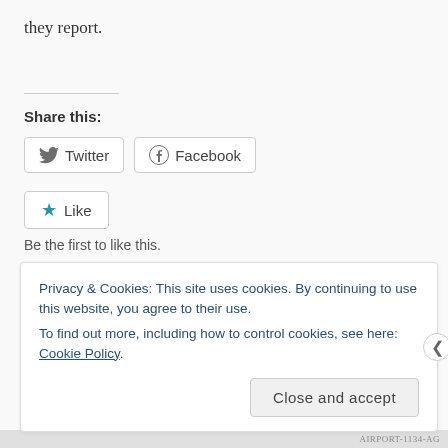they report.
Share this:
[Figure (other): Twitter and Facebook share buttons]
[Figure (other): Like button with star icon]
Be the first to like this.
Posted in Uncategorized on January 18, 2016. Leave a comment
Privacy & Cookies: This site uses cookies. By continuing to use this website, you agree to their use.
To find out more, including how to control cookies, see here: Cookie Policy
Close and accept